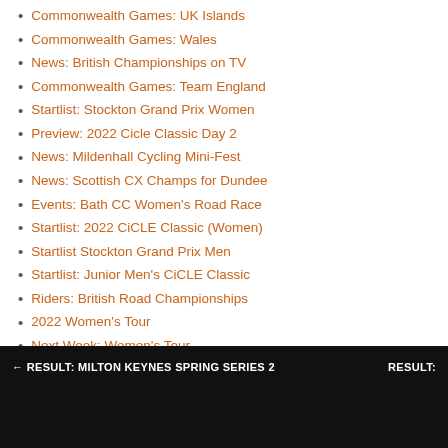Commonwealth Games: UK Islands
Commonwealth Games: Wales
News: British Championships on TV
Commonwealth Games: Team England
Startlist: Stockton Grand Prix Women
Preview: 2022 Cicle Classic Day 2
News: Mildenhall Cycling Mini-Fest
News: Scottish CX Champs for Dundee
Events: Bath CC Women's Road Race
Startlist: 2022 CiCLE Classic (Women)
Startlist Stockton Grand Prix Men
Startlist: Junior Men's CiCLE Classic
Riders: British Road Championships
2022 Women's Tour
Next Week: Women's Tour
New Shoes Anyone?
News: Sammie Stuart goes UCI!
News: Brother UK Sponsors Biggest UK Races
Scottish Team for Commonwealth Games
← RESULT: MILTON KEYNES SPRING SERIES 2    RESULT: